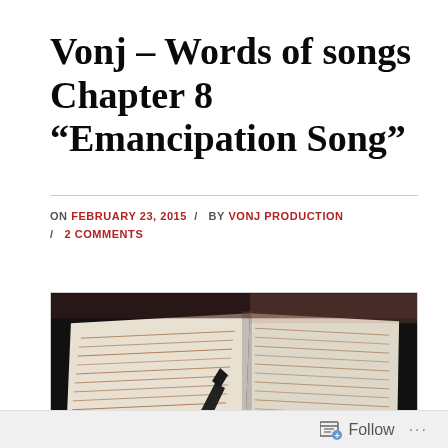Vonj – Words of songs Chapter 8 “Emancipation Song”
ON FEBRUARY 23, 2015 / BY VONJ PRODUCTION / 2 COMMENTS
[Figure (photo): Open book with handwritten text, silhouette of a pen or object in the foreground, dark background]
Follow ...